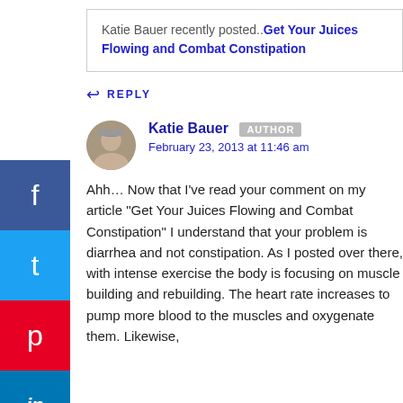Katie Bauer recently posted.. Get Your Juices Flowing and Combat Constipation
REPLY
Katie Bauer AUTHOR
February 23, 2013 at 11:46 am
Ahh… Now that I've read your comment on my article "Get Your Juices Flowing and Combat Constipation" I understand that your problem is diarrhea and not constipation. As I posted over there, with intense exercise the body is focusing on muscle building and rebuilding. The heart rate increases to pump more blood to the muscles and oxygenate them. Likewise, digestive...